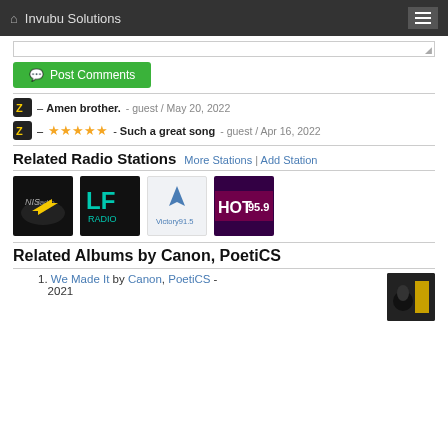Invubu Solutions
[textarea box]
Post Comments
– Amen brother. - guest / May 20, 2022
– ★★★★★ - Such a great song - guest / Apr 16, 2022
Related Radio Stations
[Figure (other): Four radio station logos: NISHradio (Z lightning bolt, black/yellow), LF Radio (teal letters, black background), Victory 91.5 (V logo, light background), HOT95.9 (text logo, pink/purple background)]
Related Albums by Canon, PoetiCS
We Made It by Canon, PoetiCS - 2021